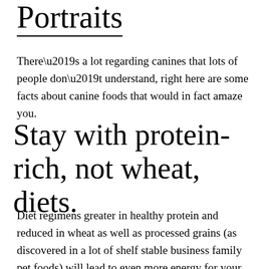Portraits
There’s a lot regarding canines that lots of people don’t understand, right here are some facts about canine foods that would in fact amaze you.
Stay with protein-rich, not wheat, diets.
Diet regimens greater in healthy protein and reduced in wheat as well as processed grains (as discovered in a lot of shelf stable business family pet foods) will lead to even more energy for your dog as well as less GI troubles.